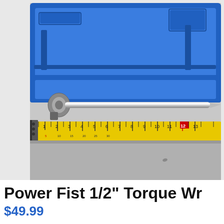[Figure (photo): A Power Fist 1/2 inch torque wrench displayed on a grey surface next to a blue plastic carrying case (open lid visible above). A yellow measuring tape is placed below the wrench for scale, showing the wrench is approximately 13 inches long.]
Power Fist 1/2" Torque Wr
$49.99